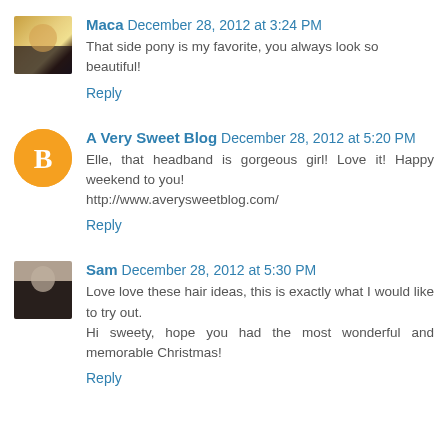Maca December 28, 2012 at 3:24 PM
That side pony is my favorite, you always look so beautiful!
Reply
A Very Sweet Blog December 28, 2012 at 5:20 PM
Elle, that headband is gorgeous girl! Love it! Happy weekend to you!
http://www.averysweetblog.com/
Reply
Sam December 28, 2012 at 5:30 PM
Love love these hair ideas, this is exactly what I would like to try out.
Hi sweety, hope you had the most wonderful and memorable Christmas!
Reply